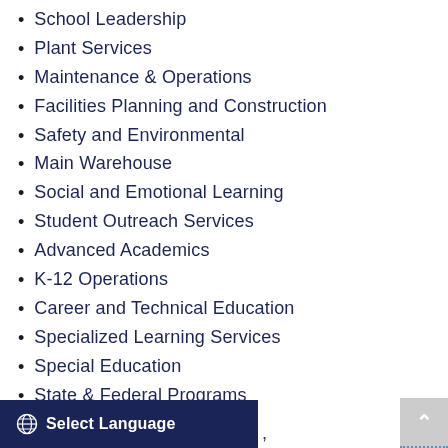School Leadership
Plant Services
Maintenance & Operations
Facilities Planning and Construction
Safety and Environmental
Main Warehouse
Social and Emotional Learning
Student Outreach Services
Advanced Academics
K-12 Operations
Career and Technical Education
Specialized Learning Services
Special Education
State & Federal Programs
World Languages
Select Language